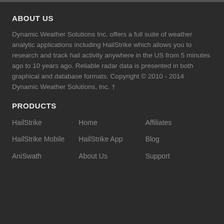ABOUT US
Dynamic Weather Solutions Inc. offers a full suite of weather analytic applications including HailStrike which allows you to research and track hail activity anywhere in the US from 5 minutes ago to 10 years ago. Reliable radar data is presented in both graphical and database formats. Copyright © 2010 - 2014 Dynamic Weather Solutions, Inc. †
PRODUCTS
HailStrike
Home
Affiliates
HailStrike Mobile
HailStrike App
Blog
AniSwath
About Us
Support